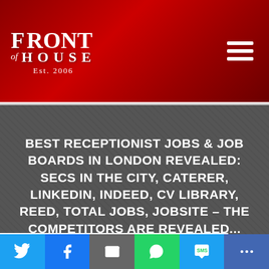[Figure (logo): Front of House logo, Est. 2006, white serif text on dark red gradient background with hamburger menu icon]
BEST RECEPTIONIST JOBS & JOB BOARDS IN LONDON REVEALED: SECS IN THE CITY, CATERER, LINKEDIN, INDEED, CV LIBRARY, REED, TOTAL JOBS, JOBSITE – THE COMPETITORS ARE REVEALED...
Which are the Best
[Figure (infographic): Social sharing bar with Twitter, Facebook, Email, WhatsApp, SMS, and More buttons]